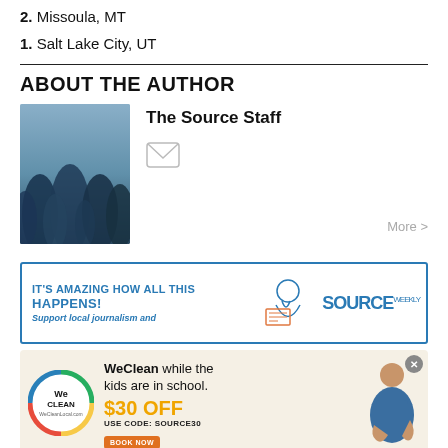2. Missoula, MT
1. Salt Lake City, UT
ABOUT THE AUTHOR
The Source Staff
[Figure (photo): Author photo showing a blue-toned nature scene with pine trees]
[Figure (infographic): Source Weekly advertisement: IT'S AMAZING HOW ALL THIS HAPPENS! Support local journalism and... with Source Weekly logo]
[Figure (infographic): WeClean advertisement: WeClean while the kids are in school. $30 OFF USE CODE: Source30. BOOK NOW button. Features a woman cleaning.]